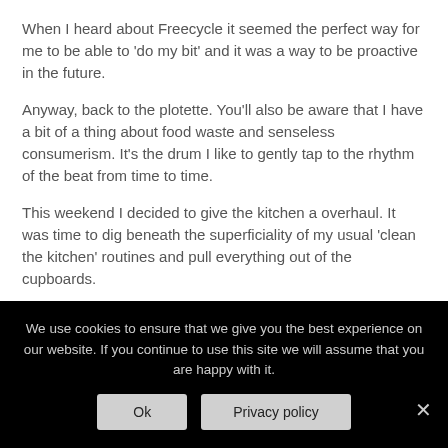When I heard about Freecycle it seemed the perfect way for me to be able to 'do my bit' and it was a way to be proactive in the future.
Anyway, back to the plotette. You'll also be aware that I have a bit of a thing about food waste and senseless consumerism. It's the drum I like to gently tap to the rhythm of the beat from time to time.
This weekend I decided to give the kitchen a overhaul. It was time to dig beneath the superficiality of my usual 'clean the kitchen' routines and pull everything out of the cupboards.
We have magic Narnia cupboards in our home. They may well look like they have a back panel that is attached to the wall, but
We use cookies to ensure that we give you the best experience on our website. If you continue to use this site we will assume that you are happy with it.